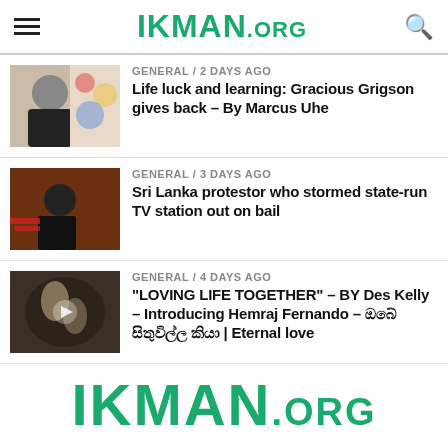IKMAN.ORG
GENERAL / 2 days ago — Life luck and learning: Gracious Grigson gives back – By Marcus Uhe
GENERAL / 3 days ago — Sri Lanka protestor who stormed state-run TV station out on bail
GENERAL / 4 days ago — "LOVING LIFE TOGETHER" – BY Des Kelly – Introducing Hemraj Fernando – ඔබේ සිතුවිල්ල කියා | Eternal love
IKMAN.ORG